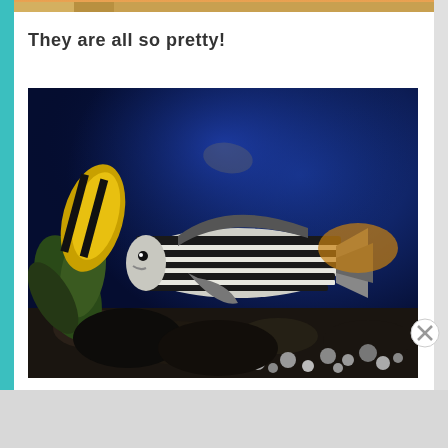[Figure (photo): Partially visible colorful fish at top of page, cropped]
They are all so pretty!
[Figure (photo): Aquarium photo showing a striped fish (Macolor niger or similar) with black and white horizontal stripes, swimming in a blue-lit aquarium with rocks, coral, and other fish visible]
Advertisements
[Figure (photo): MAC cosmetics advertisement showing lipsticks in purple, peach, and pink colors on the left, MAC logo in center, SHOP NOW button, and a red lipstick on the right]